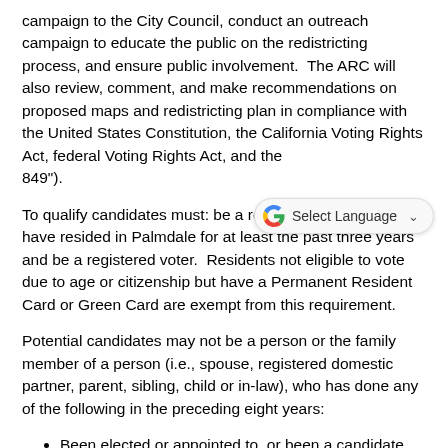campaign to the City Council, conduct an outreach campaign to educate the public on the redistricting process, and ensure public involvement. The ARC will also review, comment, and make recommendations on proposed maps and redistricting plan in compliance with the United States Constitution, the California Voting Rights Act, federal Voting Rights Act, and the [Fair Maps Act (SB 849").
To qualify candidates must: be a resident of Palmdale and have resided in Palmdale for at least the past three years and be a registered voter. Residents not eligible to vote due to age or citizenship but have a Permanent Resident Card or Green Card are exempt from this requirement.
Potential candidates may not be a person or the family member of a person (i.e., spouse, registered domestic partner, parent, sibling, child or in-law), who has done any of the following in the preceding eight years:
Been elected or appointed to, or been a candidate for, an elective office of Palmdale.